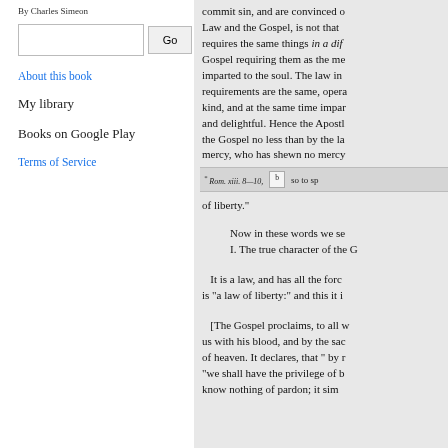By Charles Simeon
About this book
My library
Books on Google Play
Terms of Service
commit sin, and are convinced o... Law and the Gospel, is not that... requires the same things in a dif... Gospel requiring them as the me... imparted to the soul. The law in... requirements are the same, opera... kind, and at the same time impar... and delightful. Hence the Apostl... the Gospel no less than by the la... mercy, who has shewn no mercy
* Rom. xiii. 8—10,
so to sp... of liberty."
Now in these words we se... I. The true character of the G...
It is a law, and has all the forc... is “a law of liberty:” and this it i...
[The Gospel proclaims, to all w... us with his blood, and by the sac... of heaven. It declares, that “ by r... “we shall have the privilege of b... know nothing of pardon; it sim...